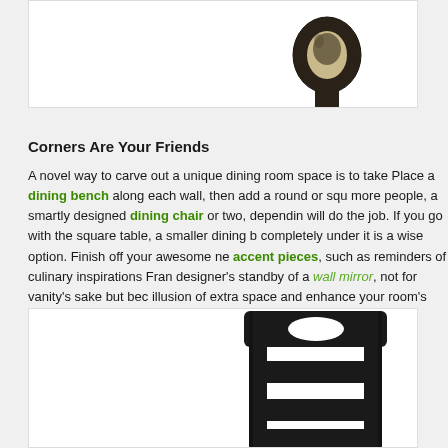[Figure (photo): Partial view of a dark/black chair top or decorative ring hardware piece, cropped, on white background]
Corners Are Your Friends
A novel way to carve out a unique dining room space is to take Place a dining bench along each wall, then add a round or sq more people, a smartly designed dining chair or two, dependin will do the job. If you go with the square table, a smaller dining completely under it is a wise option. Finish off your awesome n accent pieces, such as reminders of culinary inspirations Fran designer's standby of a wall mirror, not for vanity's sake but be illusion of extra space and enhance your room's light.
[Figure (photo): Black wooden dining chair with ladder back design featuring an oval cutout at top, photographed from behind on white background]